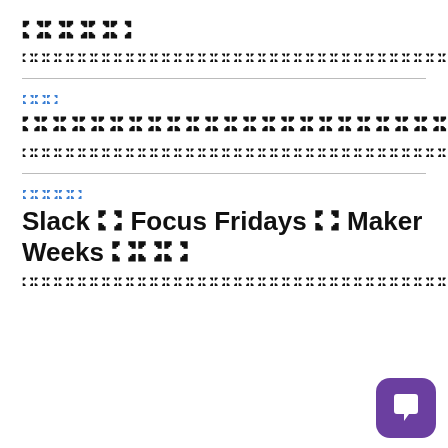🄧🄧🄧🄧🄧
🄧🄧🄧🄧🄧🄧🄧🄧🄧🄧🄧🄧🄧🄧🄧🄧🄧🄧🄧🄧🄧🄧🄧🄧🄧🄧🄧🄧🄧🄧🄧🄧🄧🄧🄧🄧🄧🄧🄧🄧🄧🄧🄧🄧🄧🄧🄧🄧🄧🄧🄧🄧🄧🄧🄧🄧🄧🄧🄧🄧🄧🄧🄧🄧🄧🄧🄧🄧🄧🄧🄧🄧🄧🄧🄧🄧🄧🄧🄧🄧🄧🄧🄧🄧🄧🄧🄧🄧🄧🄧🄧🄧🄧🄧🄧🄧🄧🄧🄧🄧🄧🄧🄧🄧🄧🄧🄧🄧🄧🄧🄧🄧🄧🄧🄧🄧🄧🄧🄧🄧🄧🄧🄧🄧🄧🄧🄧🄧🄧🄧🄧🄧🄧🄧🄧🄧🄧🄧🄧🄧🄧🄧🄧🄧🄧🄧🄧🄧🄧🄧🄧🄧🄧🄧🄧🄧🄧🄧🄧🄧🄧🄧🄧🄧🄧🄧🄧🄧🄧🄧🄧🄧🄧🄧🄧🄧🄧🄧🄧🄧🄧🄧🄧🄧🄧🄧🄧🄧🄧🄧🄧🄧🄧🄧🄧🄧🄧🄧🄧🄧🄧🄧🄧🄧🄧🄧🄧🄧🄧🄧🄧🄧🄧🄧🄧🄧🄧🄧🄧🄧🄧🄧🄧🄧🄧🄧🄧🄧🄧🄧🄧🄧🄧🄧🄧🄧🄧🄧🄧🄧🄧🄧🄧🄧🄧🄧🄧🄧🄧🄧🄧🄧🄧🄧
🄧🄧🄧
🄧🄧🄧🄧🄧🄧🄧🄧🄧🄧🄧🄧🄧🄧🄧🄧🄧🄧🄧🄧🄧🄧🄧🄧🄧🄧🄧🄧🄧🄧🄧🄧🄧🄧🄧🄧🄧🄧🄧🄧🄧🄧🄧🄧🄧🄧🄧🄧🄧🄧
🄧🄧🄧🄧🄧🄧🄧🄧🄧🄧🄧🄧🄧🄧🄧🄧🄧🄧🄧🄧🄧🄧🄧🄧🄧🄧🄧🄧🄧🄧🄧🄧🄧🄧🄧🄧🄧🄧🄧🄧🄧🄧🄧🄧🄧🄧🄧🄧🄧🄧🄧🄧🄧🄧🄧🄧🄧🄧🄧🄧🄧🄧🄧🄧🄧🄧🄧🄧🄧🄧🄧🄧🄧🄧🄧🄧🄧🄧🄧🄧🄧🄧🄧🄧🄧🄧🄧🄧🄧🄧🄧🄧🄧🄧🄧🄧🄧🄧🄧🄧🄧🄧🄧🄧🄧🄧🄧🄧🄧🄧🄧🄧🄧🄧🄧🄧🄧🄧🄧🄧🄧🄧🄧🄧🄧🄧🄧🄧🄧🄧🄧🄧🄧🄧🄧🄧🄧🄧🄧🄧🄧🄧🄧🄧🄧🄧🄧🄧🄧🄧🄧🄧🄧🄧🄧🄧🄧🄧🄧🄧🄧🄧🄧🄧🄧🄧🄧🄧🄧🄧🄧🄧🄧🄧🄧🄧🄧🄧🄧🄧🄧🄧🄧🄧🄧🄧🄧🄧🄧🄧🄧🄧🄧🄧🄧🄧🄧🄧🄧🄧🄧🄧🄧🄧🄧🄧🄧🄧🄧🄧🄧🄧🄧🄧🄧🄧🄧🄧🄧🄧🄧🄧🄧🄧🄧🄧🄧🄧🄧🄧🄧🄧🄧🄧🄧🄧🄧🄧🄧🄧🄧🄧🄧🄧🄧🄧🄧🄧🄧🄧🄧🄧🄧🄧
🄧🄧🄧🄧🄧
Slack 🄧 Focus Fridays 🄧 Maker Weeks 🄧🄧🄧
🄧🄧🄧🄧🄧🄧🄧🄧🄧🄧🄧🄧🄧🄧🄧🄧🄧🄧🄧🄧🄧🄧🄧🄧🄧🄧🄧🄧🄧🄧🄧🄧🄧🄧🄧🄧🄧🄧🄧🄧🄧🄧🄧🄧🄧🄧🄧🄧🄧🄧